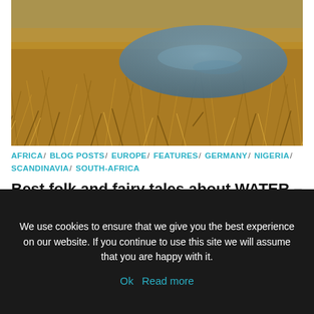[Figure (photo): Wetland scene with golden-brown dry grass and a small pool of water reflecting a blue sky, photographed from ground level.]
AFRICA / BLOG POSTS / EUROPE / FEATURES / GERMANY / NIGERIA / SCANDINAVIA / SOUTH-AFRICA
Best folk and fairy tales about WATER – Happy World Water Day
Recommended
We use cookies to ensure that we give you the best experience on our website. If you continue to use this site we will assume that you are happy with it.
Ok   Read more